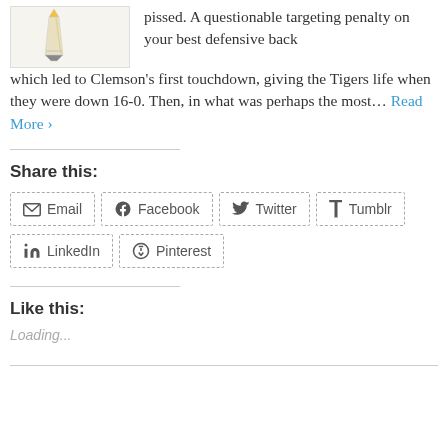[Figure (photo): Small thumbnail image with a pencil/pen illustration on light background]
pissed. A questionable targeting penalty on your best defensive back which led to Clemson's first touchdown, giving the Tigers life when they were down 16-0. Then, in what was perhaps the most… Read More ›
Share this:
Email | Facebook | Twitter | Tumblr | LinkedIn | Pinterest
Like this:
Loading...